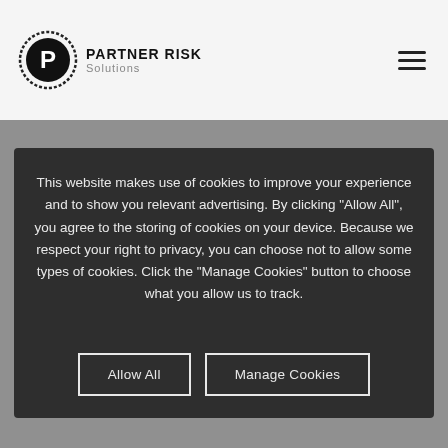Partner Risk Solutions
[Figure (logo): Partner Risk Solutions logo with circular P emblem and company name]
This website makes use of cookies to improve your experience and to show you relevant advertising. By clicking “Allow All”, you agree to the storing of cookies on your device. Because we respect your right to privacy, you can choose not to allow some types of cookies. Click the “Manage Cookies” button to choose what you allow us to track.
Allow All
Manage Cookies